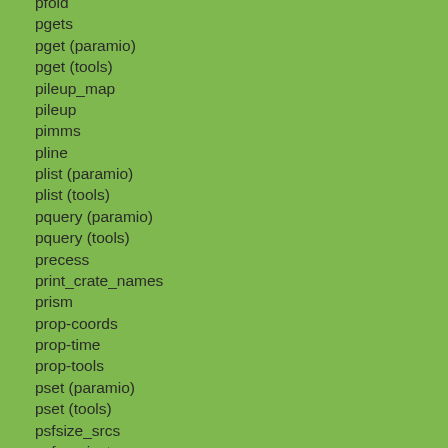pfold
pgets
pget (paramio)
pget (tools)
pileup_map
pileup
pimms
pline
plist (paramio)
plist (tools)
pquery (paramio)
pquery (tools)
precess
print_crate_names
prism
prop-coords
prop-time
prop-tools
pset (paramio)
pset (tools)
psfsize_srcs
psf_project_ray
psf
punlearn (paramio)
punlearn (tools)
python
R
r4_header_update
rank_roi
readout_bkg